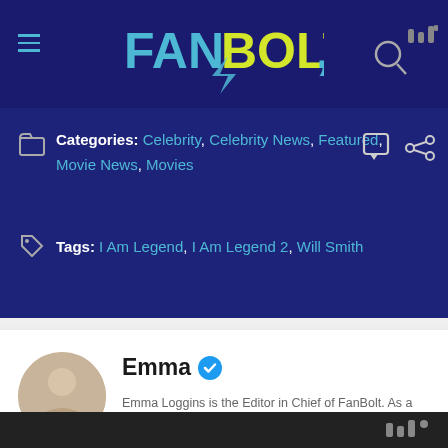[Figure (logo): FanBolt logo with cyan FAN and yellow BOLT text on dark navy header bar]
Categories: Celebrity, Celebrity News, Featured, Movie News, Movies
Tags: I Am Legend, I Am Legend 2, Will Smith
Emma
Emma Loggins is the Editor in Chief of FanBolt. As a self-proclaimed "Geek Girl", Emma updates daily on the latest entertainment news, her opinions on current happenings in the media, screening/filming opportunities, inside scoops, and more. She's been writing on the world of geekdom and pop culture
[Figure (photo): Circular avatar photo of Emma Loggins, a woman with blonde hair]